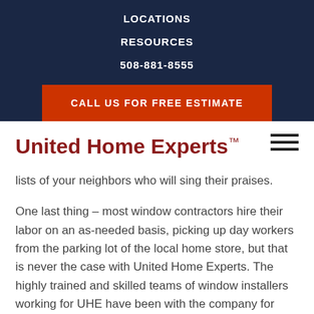LOCATIONS
RESOURCES
508-881-8555
CALL US FOR FREE ESTIMATE
United Home Experts™
lists of your neighbors who will sing their praises.
One last thing – most window contractors hire their labor on an as-needed basis, picking up day workers from the parking lot of the local home store, but that is never the case with United Home Experts.  The highly trained and skilled teams of window installers working for UHE have been with the company for years in most cases and it is their skill at what they do that allows